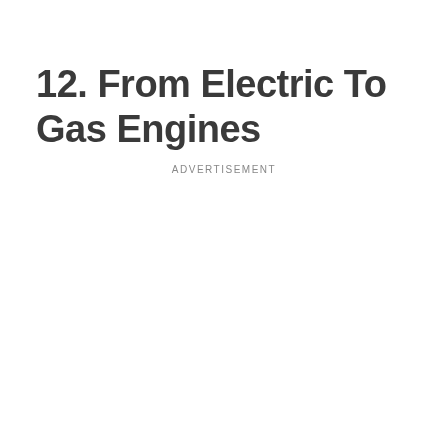12. From Electric To Gas Engines
ADVERTISEMENT